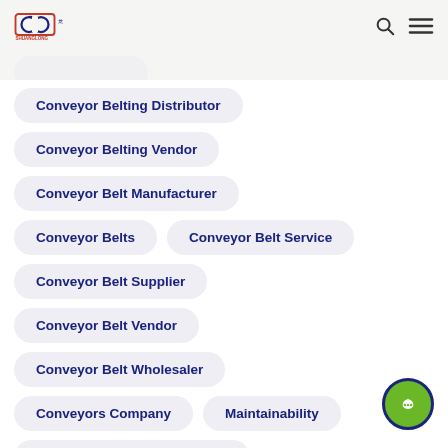Shuanglong - Logo, Search, Menu
Conveyor Belting Distributor
Conveyor Belting Vendor
Conveyor Belt Manufacturer
Conveyor Belts
Conveyor Belt Service
Conveyor Belt Supplier
Conveyor Belt Vendor
Conveyor Belt Wholesaler
Conveyors Company
Maintainability
National Conveyors Company